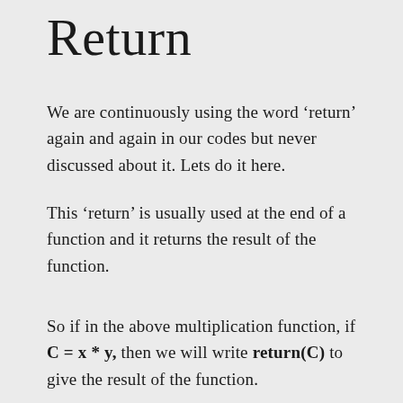Return
We are continuously using the word ‘return’ again and again in our codes but never discussed about it. Lets do it here.
This ‘return’ is usually used at the end of a function and it returns the result of the function.
So if in the above multiplication function, if C = x * y, then we will write return(C) to give the result of the function.